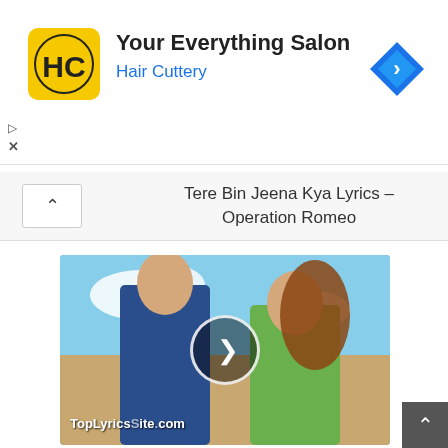[Figure (screenshot): Hair Cuttery advertisement banner with HC logo, 'Your Everything Salon' title, 'Hair Cuttery' subtitle in blue, and a blue diamond navigation arrow icon on the right]
Tere Bin Jeena Kya Lyrics – Operation Romeo
[Figure (photo): Movie promotion thumbnail showing a man in a blue suit and a woman in green dress standing back to back with a play button overlay and TopLyricsSite.com watermark]
Tu Laut Aa Lyrics – Yasser Desai | Pratik Sehajpal